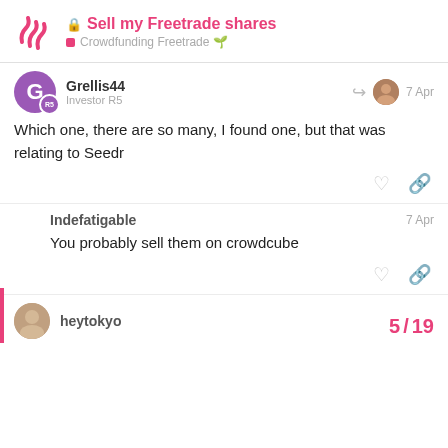Sell my Freetrade shares — Crowdfunding Freetrade
Which one, there are so many, I found one, but that was relating to Seedr
You probably sell them on crowdcube
heytokyo